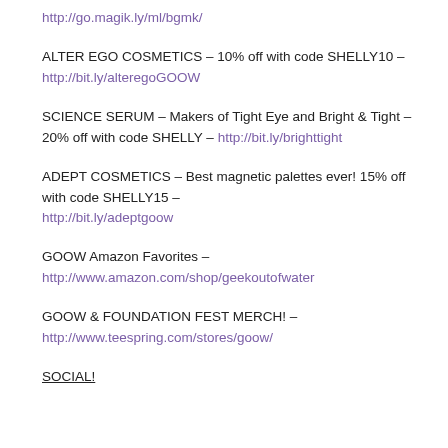http://go.magik.ly/ml/bgmk/
ALTER EGO COSMETICS – 10% off with code SHELLY10 – http://bit.ly/alteregoGOOW
SCIENCE SERUM – Makers of Tight Eye and Bright & Tight – 20% off with code SHELLY – http://bit.ly/brighttight
ADEPT COSMETICS – Best magnetic palettes ever! 15% off with code SHELLY15 – http://bit.ly/adeptgoow
GOOW Amazon Favorites – http://www.amazon.com/shop/geekoutofwater
GOOW & FOUNDATION FEST MERCH! – http://www.teespring.com/stores/goow/
SOCIAL!